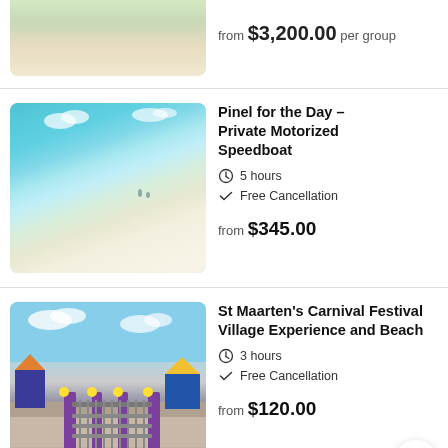[Figure (photo): Partial beach photo showing sandy shore, cut off at top]
from $3,200.00 per group
[Figure (photo): Turquoise beach with white sand and blue sky]
Pinel for the Day – Private Motorized Speedboat
5 hours
Free Cancellation
from $345.00
[Figure (photo): Carnival festival village entrance with colorful buildings and decorative gates]
St Maarten's Carnival Festival Village Experience and Beach
3 hours
Free Cancellation
from $120.00